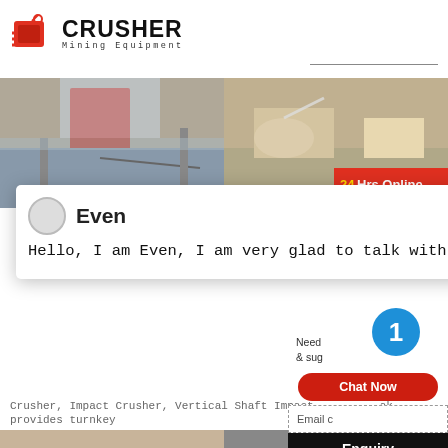[Figure (logo): Crusher Mining Equipment logo with red shopping bag icon and bold text]
[Figure (photo): Two side-by-side photos: left shows red industrial crusher equipment against sky, right shows mining/quarry scene with water spray]
Even
Hello, I am Even, I am very glad to talk with you!
Crusher, Impact Crusher, Vertical Shaft Impact ... provides turnkey
More   Get Price
24Hrs Online
Need & sug...
Chat Now
Enquiry
Email c...
limingjlmofen@sina.com
[Figure (photo): Two more side-by-side photos at bottom of page]